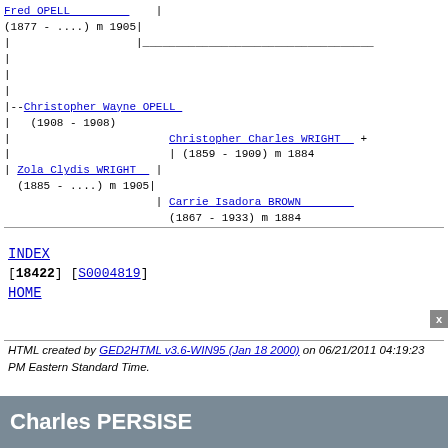[Figure (other): Genealogy family tree diagram showing Fred OPELL (1877-....) m 1905, Christopher Wayne OPELL (1908-1908), Zola Clydis WRIGHT (1885-....) m 1905, Christopher Charles WRIGHT (1859-1909) m 1884, and Carrie Isadora BROWN (1867-1933) m 1884]
INDEX
[18422] [S0004819]
HOME
HTML created by GED2HTML v3.6-WIN95 (Jan 18 2000) on 06/21/2011 04:19:23 PM Eastern Standard Time.
Charles PERSISE